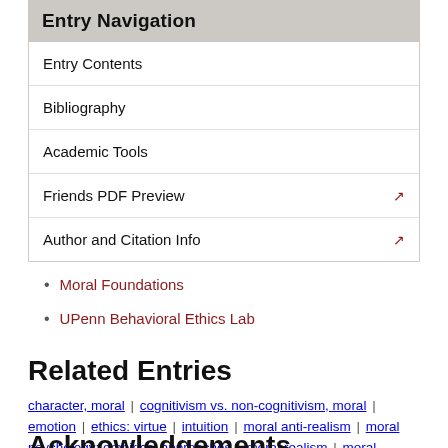Entry Navigation
Entry Contents
Bibliography
Academic Tools
Friends PDF Preview
Author and Citation Info
Moral Foundations
UPenn Behavioral Ethics Lab
Related Entries
character, moral | cognitivism vs. non-cognitivism, moral | emotion | ethics: virtue | intuition | moral anti-realism | moral psychology: empirical approaches | moral realism | moral relativism | well-being
Acknowledgements